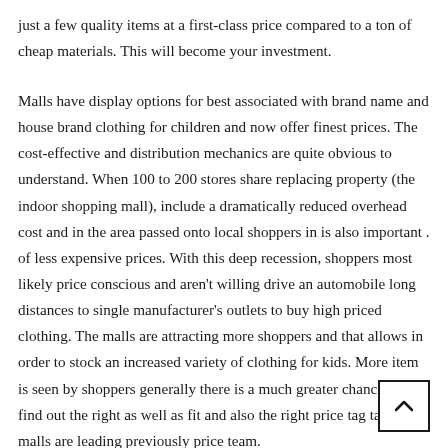just a few quality items at a first-class price compared to a ton of cheap materials. This will become your investment.
Malls have display options for best associated with brand name and house brand clothing for children and now offer finest prices. The cost-effective and distribution mechanics are quite obvious to understand. When 100 to 200 stores share replacing property (the indoor shopping mall), include a dramatically reduced overhead cost and in the area passed onto local shoppers in is also important . of less expensive prices. With this deep recession, shoppers most likely price conscious and aren't willing drive an automobile long distances to single manufacturer's outlets to buy high priced clothing. The malls are attracting more shoppers and that allows in order to stock an increased variety of clothing for kids. More item is seen by shoppers generally there is a much greater chance they'll find out the right as well as fit and also the right price tag tag. And malls are leading previously price team.